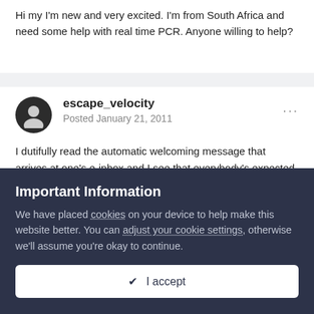Hi my I'm new and very excited. I'm from South Africa and need some help with real time PCR. Anyone willing to help?
escape_velocity
Posted January 21, 2011
I dutifully read the automatic welcoming message that arrives at one's e-inbox and I see that everybody's expected to introduce him/herself, so I'll say that I'm a Seventies college dropout who dropped out in his third semester of Biology and that's all the higher education I ever got, but I never lost my scientific curiosity. I've been an
Important Information
We have placed cookies on your device to help make this website better. You can adjust your cookie settings, otherwise we'll assume you're okay to continue.
✔  I accept